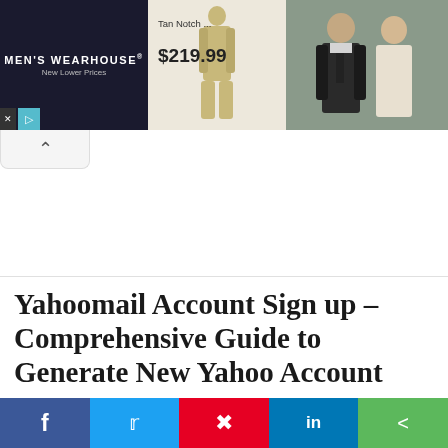[Figure (screenshot): Men's Wearhouse advertisement banner showing tan notch suit for $219.99 with male models in suits]
Yahoomail Account Sign up – Comprehensive Guide to Generate New Yahoo Account
Filed in: Online Account | posted on August 25, 2019 | 0 Comments
[Figure (infographic): Social sharing bar with Facebook, Twitter, Pinterest, LinkedIn, and Share buttons]